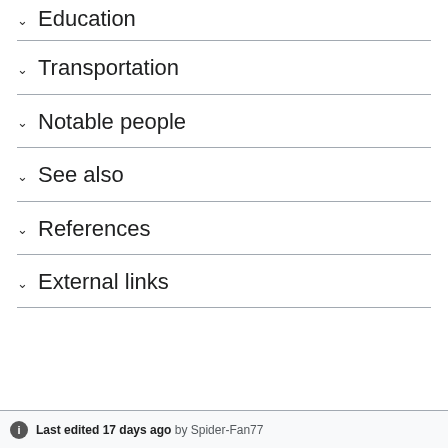Education
Transportation
Notable people
See also
References
External links
Last edited 17 days ago by Spider-Fan77